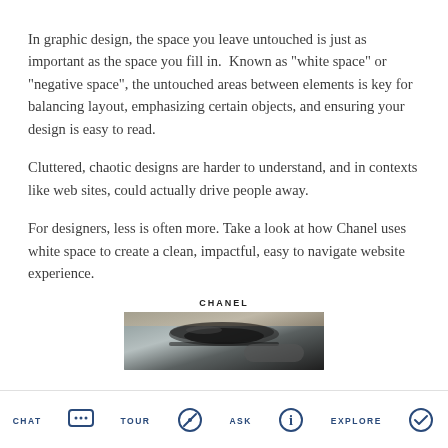In graphic design, the space you leave untouched is just as important as the space you fill in.  Known as "white space" or "negative space", the untouched areas between elements is key for balancing layout, emphasizing certain objects, and ensuring your design is easy to read.
Cluttered, chaotic designs are harder to understand, and in contexts like web sites, could actually drive people away.
For designers, less is often more. Take a look at how Chanel uses white space to create a clean, impactful, easy to navigate website experience.
[Figure (screenshot): Screenshot of Chanel website showing logo 'CHANEL' and a cropped photo of a woman's eye with dark makeup]
CHAT | TOUR | ASK | EXPLORE